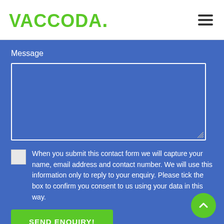[Figure (logo): VACCODA. green logo with hamburger menu icon on the right]
Message
[Figure (screenshot): Empty message textarea field with white border on blue background]
When you submit this contact form we will capture your name, email address and contact number. We will use this information only to reply to your enquiry. Please tick the box to confirm you consent to us using your data in this way.
SEND ENQUIRY!